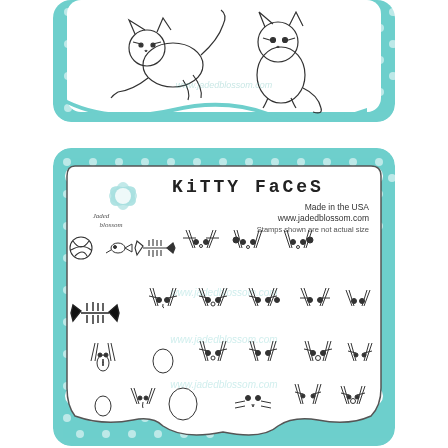[Figure (illustration): Top portion of a Jaded Blossom stamp card showing two cats on a teal polka-dot cushion with curvy border, partially cropped at the top of the page]
[Figure (illustration): Jaded Blossom 'Kitty Faces' clear stamp set card. Teal/mint polka-dot background, white pillow-shaped inner card with logo and text header: 'KITTY FACES', 'Made in the USA', 'www.jadedblossom.com', 'Stamps shown are not actual size'. Contains multiple clear stamps of cat-themed motifs: yarn ball, fish, fish skeleton, various kitty face expressions with whiskers and eyes, nose details in different styles.]
KITTY FACES
Made in the USA
www.jadedblossom.com
Stamps shown are not actual size